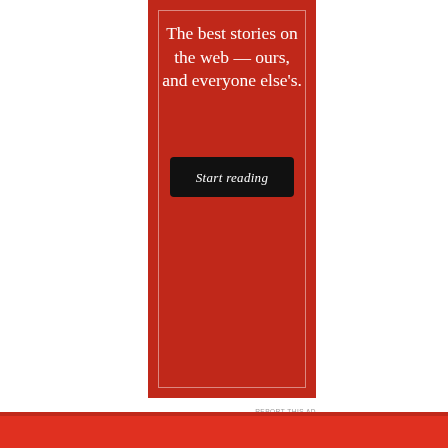[Figure (infographic): Red advertisement banner with white serif text reading 'The best stories on the web — ours, and everyone else's.' with a black 'Start reading' button below, all on a dark red background with a thin inner border.]
REPORT THIS AD